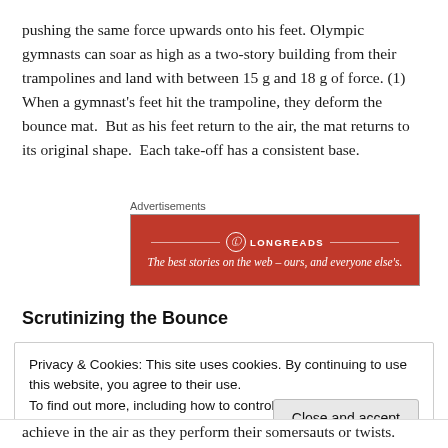pushing the same force upwards onto his feet. Olympic gymnasts can soar as high as a two-story building from their trampolines and land with between 15 g and 18 g of force. (1) When a gymnast's feet hit the trampoline, they deform the bounce mat.  But as his feet return to the air, the mat returns to its original shape.  Each take-off has a consistent base.
[Figure (other): Longreads advertisement banner — red background with circular logo, site name LONGREADS, and tagline: The best stories on the web – ours, and everyone else's.]
Scrutinizing the Bounce
Privacy & Cookies: This site uses cookies. By continuing to use this website, you agree to their use.
To find out more, including how to control cookies, see here: Cookie Policy
achieve in the air as they perform their somersauts or twists.